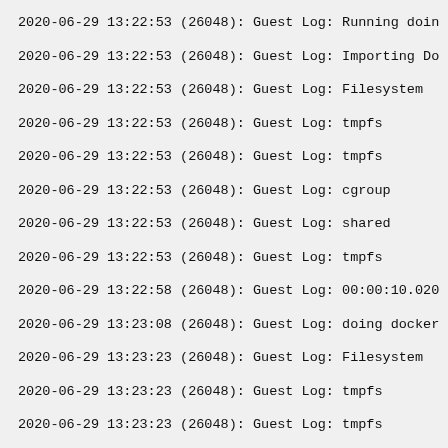2020-06-29 13:22:53 (26048): Guest Log: Running doin
2020-06-29 13:22:53 (26048): Guest Log: Importing Do
2020-06-29 13:22:53 (26048): Guest Log: Filesystem
2020-06-29 13:22:53 (26048): Guest Log: tmpfs
2020-06-29 13:22:53 (26048): Guest Log: tmpfs
2020-06-29 13:22:53 (26048): Guest Log: cgroup
2020-06-29 13:22:53 (26048): Guest Log: shared
2020-06-29 13:22:53 (26048): Guest Log: tmpfs
2020-06-29 13:22:58 (26048): Guest Log: 00:00:10.020
2020-06-29 13:23:08 (26048): Guest Log: doing docker
2020-06-29 13:23:23 (26048): Guest Log: Filesystem
2020-06-29 13:23:23 (26048): Guest Log: tmpfs
2020-06-29 13:23:23 (26048): Guest Log: tmpfs